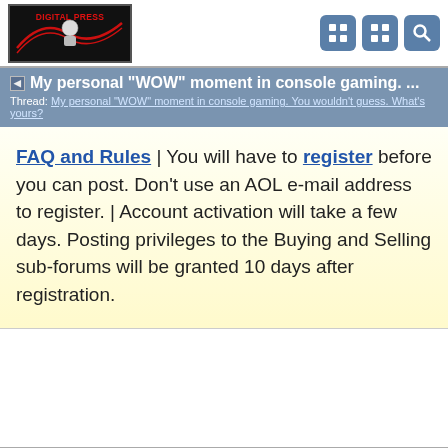[Figure (logo): Digital Press logo — dark background with red stylized text and mascot figure]
My personal "WOW" moment in console gaming. ...
Thread: My personal "WOW" moment in console gaming. You wouldn't guess. What's yours?
FAQ and Rules | You will have to register before you can post. Don't use an AOL e-mail address to register. | Account activation will take a few days. Posting privileges to the Buying and Selling sub-forums will be granted 10 days after registration.
OldSchoolGamer said:
01-20-2022 02:53 AM